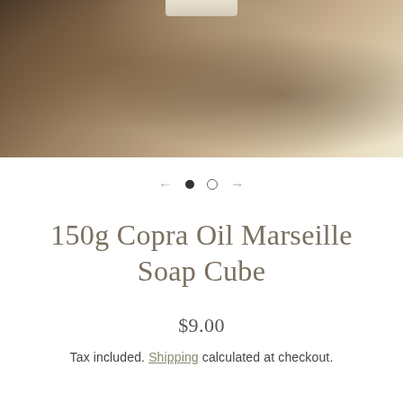[Figure (photo): Close-up photo of a natural stone or wood surface with mottled brown, gray, and beige tones. A pale cream-colored soap cube is partially visible at the very top center of the image.]
[Figure (other): Image carousel navigation: left arrow, filled circle dot, empty circle dot, right arrow]
150g Copra Oil Marseille Soap Cube
$9.00
Tax included. Shipping calculated at checkout.